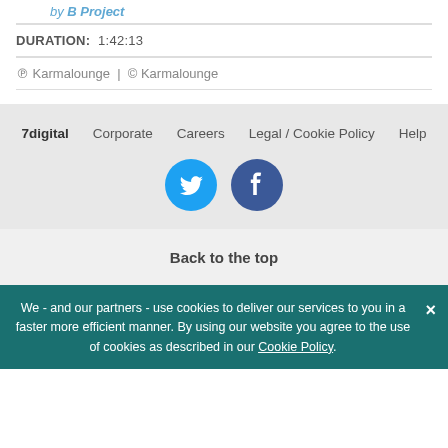by B Project
DURATION:  1:42:13
℗ Karmalounge  |  © Karmalounge
7digital  Corporate  Careers  Legal / Cookie Policy  Help
[Figure (other): Twitter and Facebook social media icon circles]
Back to the top
We - and our partners - use cookies to deliver our services to you in a faster more efficient manner. By using our website you agree to the use of cookies as described in our Cookie Policy.